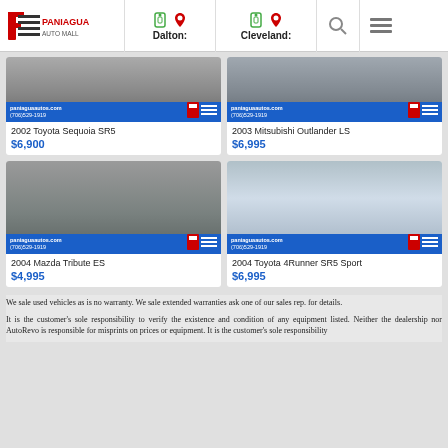Paniagua Auto Mall — Dalton: | Cleveland:
[Figure (photo): 2002 Toyota Sequoia SR5 vehicle photo with paniaguaautos.com overlay]
2002 Toyota Sequoia SR5
$6,900
[Figure (photo): 2003 Mitsubishi Outlander LS vehicle photo with paniaguaautos.com overlay]
2003 Mitsubishi Outlander LS
$6,995
[Figure (photo): 2004 Mazda Tribute ES vehicle photo with paniaguaautos.com overlay]
2004 Mazda Tribute ES
$4,995
[Figure (photo): 2004 Toyota 4Runner SR5 Sport vehicle photo with paniaguaautos.com overlay]
2004 Toyota 4Runner SR5 Sport
$6,995
We sale used vehicles as is no warranty. We sale extended warranties ask one of our sales rep. for details.
It is the customer's sole responsibility to verify the existence and condition of any equipment listed. Neither the dealership nor AutoRevo is responsible for misprints on prices or equipment. It is the customer's sole responsibility